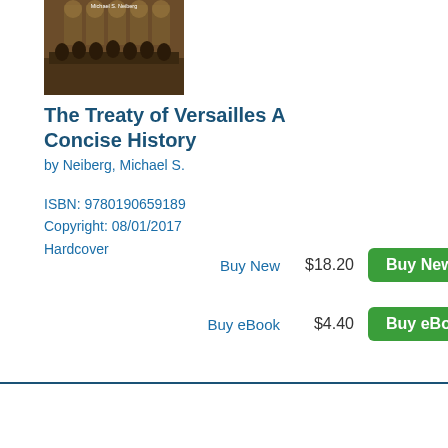[Figure (photo): Book cover of 'The Treaty of Versailles A Concise History' by Michael S. Neiberg, showing a historical photograph of dignitaries seated in an ornate hall]
The Treaty of Versailles A Concise History
by Neiberg, Michael S.
ISBN: 9780190659189
Copyright: 08/01/2017
Hardcover
Buy New   $18.20
Buy eBook   $4.40